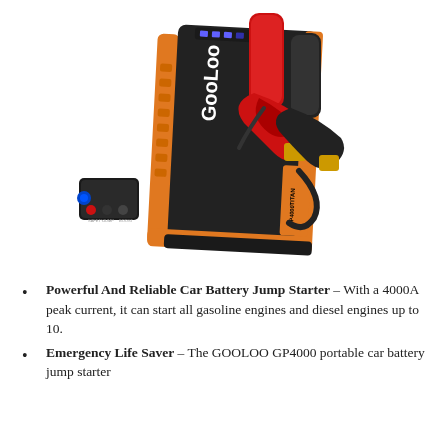[Figure (photo): GOOLOO GP4000 TITAN portable car battery jump starter with 4000A peak current, shown with red and black jumper clamps attached, black and orange body with LED indicator lights on top, and a blue port adapter on the side.]
Powerful And Reliable Car Battery Jump Starter – With a 4000A peak current, it can start all gasoline engines and diesel engines up to 10.
Emergency Life Saver – The GOOLOO GP4000 portable car battery jump starter